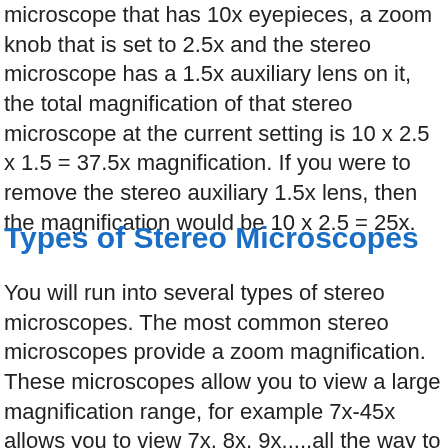microscope that has 10x eyepieces, a zoom knob that is set to 2.5x and the stereo microscope has a 1.5x auxiliary lens on it, the total magnification of that stereo microscope at the current setting is 10 x 2.5 x 1.5 = 37.5x magnification. If you were to remove the stereo auxiliary 1.5x lens, then the magnification would be 10 x 2.5 = 25x.
Types of Stereo Microscopes
You will run into several types of stereo microscopes. The most common stereo microscopes provide a zoom magnification. These microscopes allow you to view a large magnification range, for example 7x-45x allows you to view 7x, 8x, 9x.....all the way to 45x. You can view each magnification between the low and high point. A dual power stereo microscope has two set...